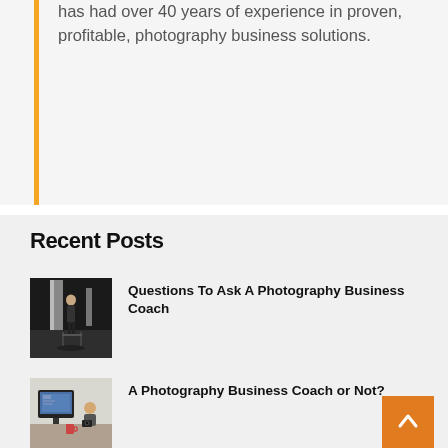has had over 40 years of experience in proven, profitable, photography business solutions.
Recent Posts
[Figure (photo): Photography studio scene with a person sitting on a stool under professional studio lighting, chairs visible in background]
Questions To Ask A Photography Business Coach
[Figure (photo): Person at a desk using a computer with a camera nearby, coffee mug visible]
A Photography Business Coach or Not?